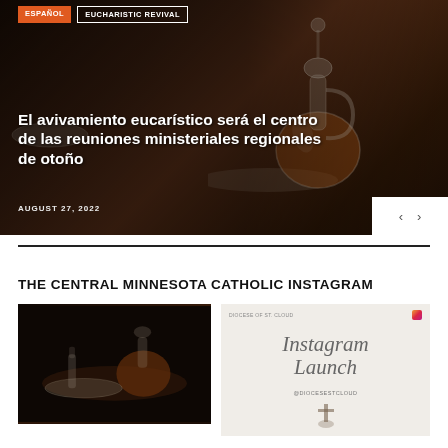ESPAÑOL | EUCHARISTIC REVIVAL
[Figure (photo): Dark moody photo of glass decanter with red wine/oil on a dark table surface, with blurred background]
El avivamiento eucarístico será el centro de las reuniones ministeriales regionales de otoño
AUGUST 27, 2022
THE CENTRAL MINNESOTA CATHOLIC INSTAGRAM
[Figure (photo): Dark close-up photo of glass liturgical vessels on dark surface]
[Figure (photo): Instagram Launch announcement card for Diocese of St. Cloud @diocesestcloud with a cross graphic]